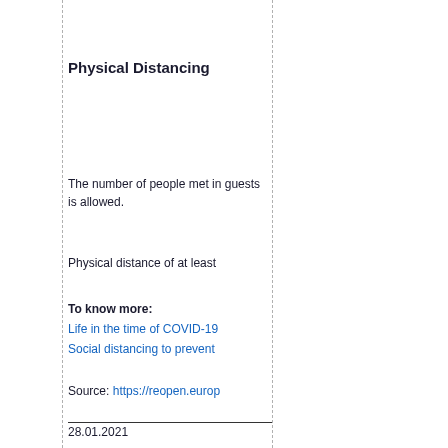Physical Distancing
The number of people met in guests is allowed.
Physical distance of at least
To know more:
Life in the time of COVID-19
Social distancing to prevent
Source: https://reopen.europ
28.01.2021